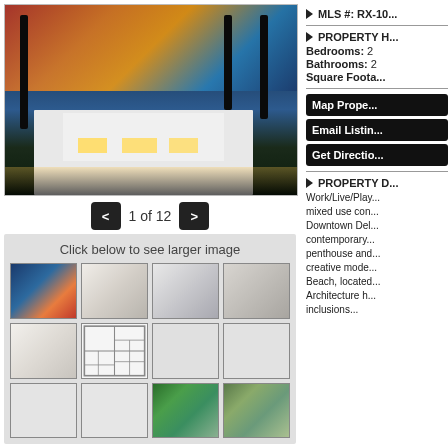[Figure (photo): Exterior rendering of modern white luxury home with palm trees at dusk]
1 of 12
Click below to see larger image
[Figure (photo): Grid of 12 property thumbnail images including exterior rendering, kitchen, bathroom, floor plan, and aerial views]
MLS #: RX-10...
PROPERTY H...
Bedrooms: 2
Bathrooms: 2
Square Foota...
Map Prope...
Email Listin...
Get Directio...
PROPERTY D...
Work/Live/Play... mixed use con... Downtown Del... contemporary... penthouse and... creative mode... Beach, located... Architecture h... inclusions...